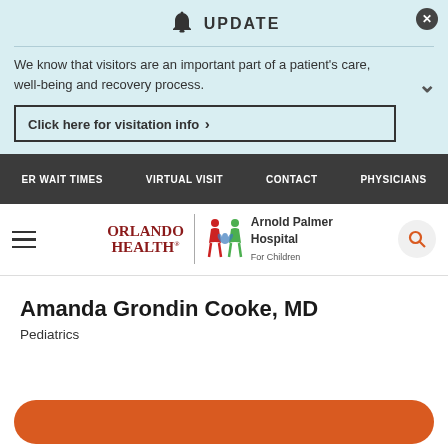UPDATE
We know that visitors are an important part of a patient's care, well-being and recovery process.
Click here for visitation info ›
ER WAIT TIMES   VIRTUAL VISIT   CONTACT   PHYSICIANS
[Figure (logo): Orlando Health | Arnold Palmer Hospital For Children logo]
Amanda Grondin Cooke, MD
Pediatrics